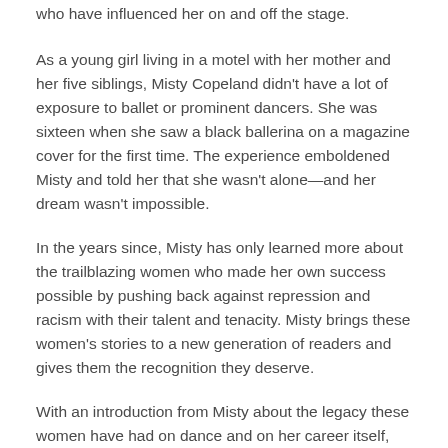who have influenced her on and off the stage.
As a young girl living in a motel with her mother and her five siblings, Misty Copeland didn't have a lot of exposure to ballet or prominent dancers. She was sixteen when she saw a black ballerina on a magazine cover for the first time. The experience emboldened Misty and told her that she wasn't alone—and her dream wasn't impossible.
In the years since, Misty has only learned more about the trailblazing women who made her own success possible by pushing back against repression and racism with their talent and tenacity. Misty brings these women's stories to a new generation of readers and gives them the recognition they deserve.
With an introduction from Misty about the legacy these women have had on dance and on her career itself, this book delves into the lives and careers of women of color who fundamentally changed the landscape of American ballet from the early 20th century to today.